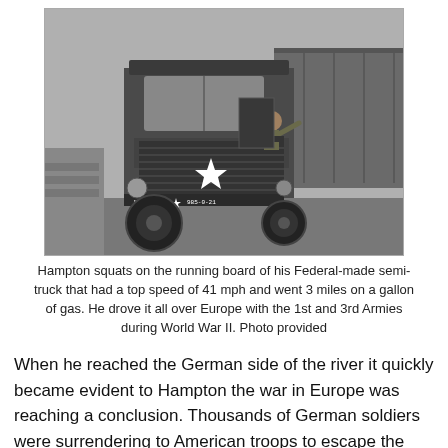[Figure (photo): Black and white historical photograph of a WWII-era Federal-made semi-truck with a white star on the front grille. A soldier (Hampton) squats on the running board. The truck has the number 985-0-21 on the bumper. A cargo trailer is visible behind.]
Hampton squats on the running board of his Federal-made semi-truck that had a top speed of 41 mph and went 3 miles on a gallon of gas. He drove it all over Europe with the 1st and 3rd Armies during World War II. Photo provided
When he reached the German side of the river it quickly became evident to Hampton the war in Europe was reaching a conclusion. Thousands of German soldiers were surrendering to American troops to escape the Russian...